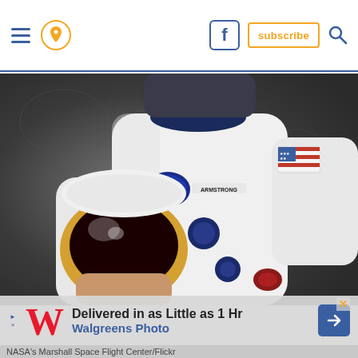Navigation header with hamburger menu, location icon, Facebook icon, subscribe button, search icon
[Figure (photo): Astronaut in white NASA spacesuit holding helmet with gold visor, wearing US flag patch on right arm and NASA patch on left chest, name tag reading ARMSTRONG, against dark lunar/space background]
[Figure (infographic): Walgreens Photo advertisement banner: 'Delivered in as Little as 1 Hr / Walgreens Photo' with red W logo and blue navigation arrow icon]
NASA's Marshall Space Flight Center/Flickr